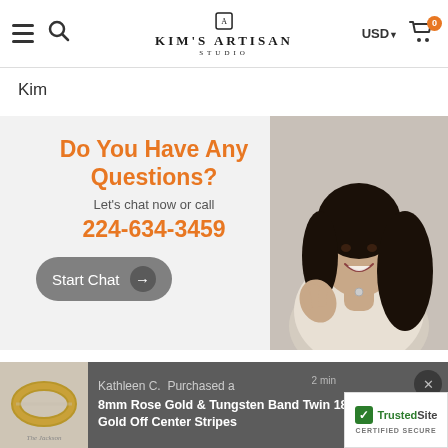Kim's Artisan Studio — USD — Cart (0)
Kim
[Figure (infographic): Customer service banner with orange heading 'Do You Have Any Questions?', subtext 'Let’s chat now or call', phone number '224-634-3459', a 'Start Chat' button with arrow, and a photo of a smiling woman making a phone-call hand gesture.]
Engraving Information
Kathleen C.  Purchased a
8mm Rose Gold & Tungsten Band Twin 18K Rose Gold Off Center Stripes
[Figure (photo): Gold and rose gold ring product image with label 'The Jackson']
[Figure (logo): TrustedSite CERTIFIED SECURE badge with green checkmark]